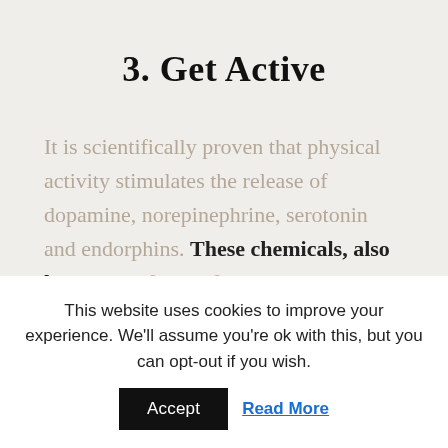3. Get Active
It is scientifically proven that physical activity stimulates the release of dopamine, norepinephrine, serotonin and endorphins. These chemicals, also known as "happy hormones" are directly responsible for your mood. That's why even low impact and
This website uses cookies to improve your experience. We'll assume you're ok with this, but you can opt-out if you wish.
Accept   Read More